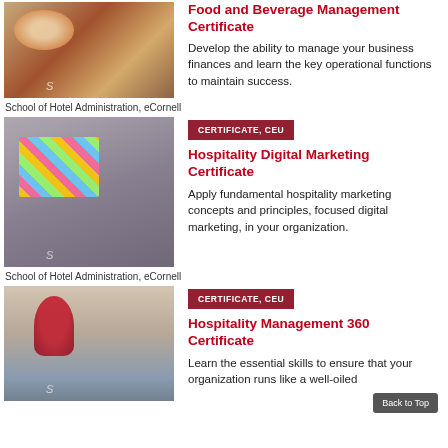[Figure (photo): Photo of grilled food / plated dishes for Food and Beverage Management Certificate]
Food and Beverage Management Certificate
Develop the ability to manage your business finances and learn the key operational functions to maintain success.
School of Hotel Administration, eCornell
[Figure (photo): Photo of person working with colorful sticky notes / marketing planning materials]
CERTIFICATE, CEU
Hospitality Digital Marketing Certificate
Apply fundamental hospitality marketing concepts and principles, focused digital marketing, in your organization.
School of Hotel Administration, eCornell
[Figure (photo): Photo of flower arrangement and glassware on table for Hospitality Management 360 Certificate]
CERTIFICATE, CEU
Hospitality Management 360 Certificate
Learn the essential skills to ensure that your organization runs like a well-oiled